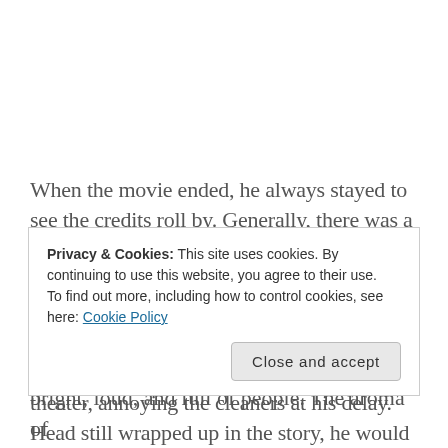When the movie ended, he always stayed to see the credits roll by. Generally, there was a theme song that played along with them, so he sat quietly watching and listening as everyone bustled around grabbing up their items and debris as they headed out. Jake was almost always the last person out of the theater, annoying the cleaners at his delay. Head still wrapped up in the story, he would slowly wander
Privacy & Cookies: This site uses cookies. By continuing to use this website, you agree to their use.
To find out more, including how to control cookies, see here: Cookie Policy
Close and accept
bright, loud, and full of people. The aroma of